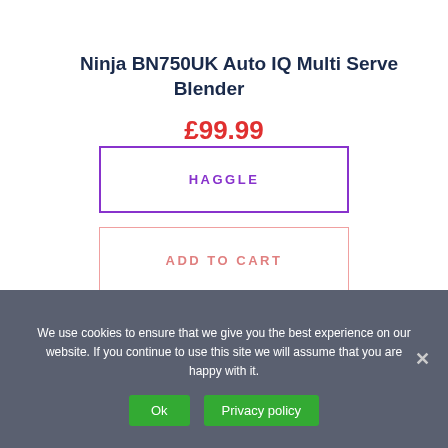Ninja BN750UK Auto IQ Multi Serve Blender
£99.99
HAGGLE
ADD TO CART
We use cookies to ensure that we give you the best experience on our website. If you continue to use this site we will assume that you are happy with it.
Ok
Privacy policy